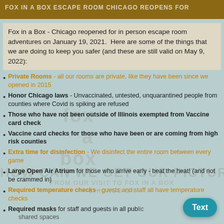Fox in a Box - Chicago reopened for in person escape room adventures on January 19, 2021.  Here are some of the things that we are doing to keep you safer (and these are still valid on May 9, 2022):
Private Rooms - all our rooms are private, like they have been since we opened in 2015
Honor Chicago laws - Unvaccinated, untested, unquarantined people from counties where Covid is spiking are refused
Those who have not been outside of Illinois exempted from Vaccine card check
Vaccine card checks for those who have been or are coming from high risk counties
Extra time for disinfection - We disinfect the entire room between every game
Large Open Air Atrium for those who arrive early - beat the heat! (and not be crammed in)
Required temperature checks - guests and staff all have temperature checks
Required masks for staff and guests in all public shared spaces